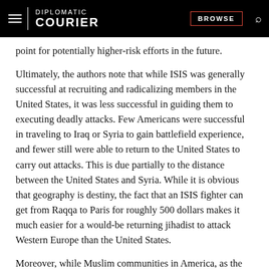DIPLOMATIC COURIER | BROWSE
point for potentially higher-risk efforts in the future.
Ultimately, the authors note that while ISIS was generally successful at recruiting and radicalizing members in the United States, it was less successful in guiding them to executing deadly attacks. Few Americans were successful in traveling to Iraq or Syria to gain battlefield experience, and fewer still were able to return to the United States to carry out attacks. This is due partially to the distance between the United States and Syria. While it is obvious that geography is destiny, the fact that an ISIS fighter can get from Raqqa to Paris for roughly 500 dollars makes it much easier for a would-be returning jihadist to attack Western Europe than the United States.
Moreover, while Muslim communities in America, as the authors note, have been effective at generally